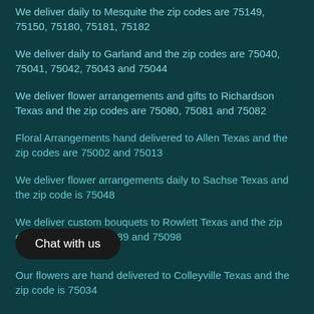We deliver daily to Mesquite the zip codes are 75149, 75150, 75180, 75181, 75182
We deliver daily to Garland and the zip codes are 75040, 75041, 75042, 75043 and 75044
We deliver flower arrangements and gifts to Richardson Texas and the zip codes are 75080, 75081 and 75082
Floral Arrangements hand delivered to Allen Texas and the zip codes are 75002 and 75013
We deliver flower arrangements daily to Sachse Texas and the zip code is 75048
We deliver custom bouquets to Rowlett Texas and the zip codes are 75088, 75089 and 75098
Our flowers are hand delivered to Colleyville Texas and the zip code is 75034